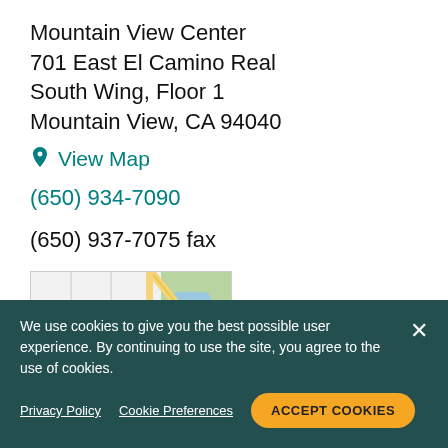Mountain View Center
701 East El Camino Real
South Wing, Floor 1
Mountain View, CA 94040
View Map
(650) 934-7090
(650) 937-7075 fax
[Figure (map): Google Maps screenshot showing Mountain View Center location near Oak Meadow Park, with red pin marker. Shows streets including Los Gatos Shannon. Map data ©2022 Google.]
We use cookies to give you the best possible user experience. By continuing to use the site, you agree to the use of cookies.

Privacy Policy  Cookie Preferences  ACCEPT COOKIES